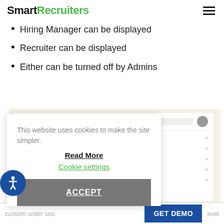SmartRecruiters
Hiring Manager can be displayed
Recruiter can be displayed
Either can be turned off by Admins
[Figure (screenshot): Screenshot of SmartRecruiters application interface showing a settings panel with a search bar, avatar/circle icon, and list items with x marks]
[Figure (screenshot): Cookie consent modal overlay with text 'This website uses cookies to make the site simpler.' with Read More link, Cookie settings link, and ACCEPT button]
custom order sco... GET DEMO ...evel